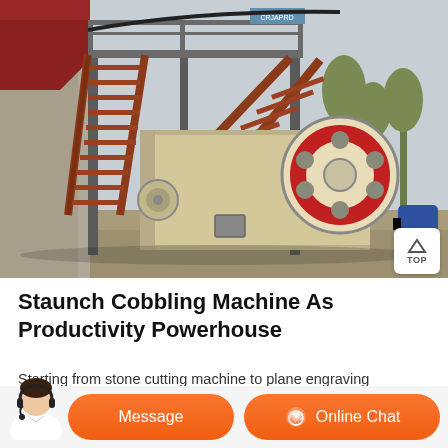[Figure (photo): Industrial jaw crusher / cobbling machine mounted on a steel frame structure with stairs, large flywheel visible on the right side, photographed outdoors]
Staunch Cobbling Machine As Productivity Powerhouse
Starting from stone cutting machine to plane engraving machine and edge polishing machines, you get all kinds of cobbling machine from
Message
Online Chat